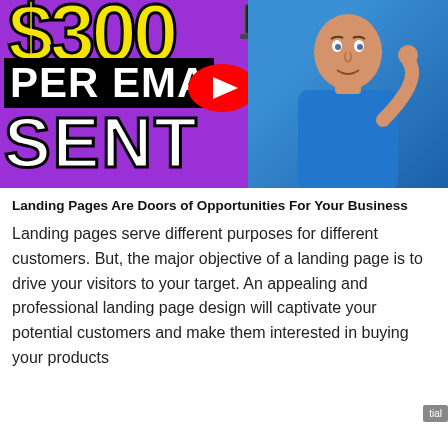[Figure (screenshot): YouTube video thumbnail on purple background showing '$300 PER EMAIL SENT' text in bold yellow/white letters, a YouTube play button overlay, a laptop icon, and a man in a blue t-shirt pointing at the text]
Landing Pages Are Doors of Opportunities For Your Business
Landing pages serve different purposes for different customers. But, the major objective of a landing page is to drive your visitors to your target. An appealing and professional landing page design will captivate your potential customers and make them interested in buying your products